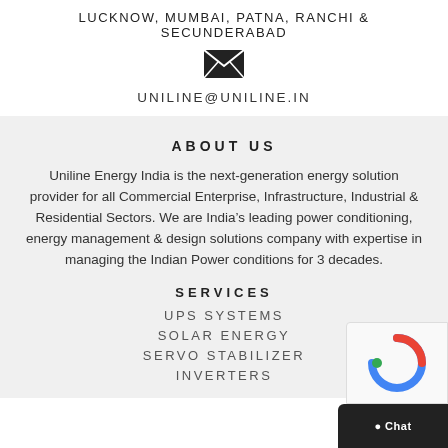LUCKNOW, MUMBAI, PATNA, RANCHI & SECUNDERABAD
[Figure (illustration): Email envelope icon (black)]
UNILINE@UNILINE.IN
ABOUT US
Uniline Energy India is the next-generation energy solution provider for all Commercial Enterprise, Infrastructure, Industrial & Residential Sectors. We are India’s leading power conditioning, energy management & design solutions company with expertise in managing the Indian Power conditions for 3 decades.
SERVICES
UPS SYSTEMS
SOLAR ENERGY
SERVO STABILIZER
INVERTERS